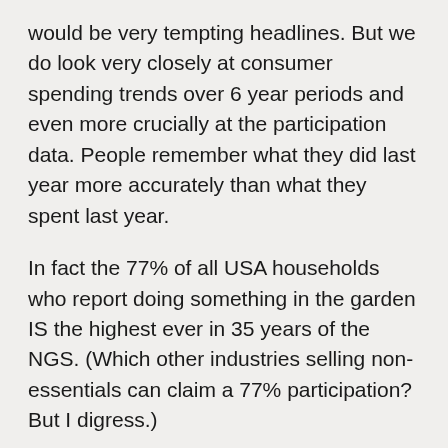would be very tempting headlines. But we do look very closely at consumer spending trends over 6 year periods and even more crucially at the participation data. People remember what they did last year more accurately than what they spent last year.
In fact the 77% of all USA households who report doing something in the garden IS the highest ever in 35 years of the NGS. (Which other industries selling non-essentials can claim a 77% participation? But I digress.)
While participation in gardening stayed flat among households of those over 55 years of age, it continued to rise in the households of under 35s. They are not yet spending the same amount of money as their older siblings and parents but they are now seriously engaged in more than just houseplants and veggies. Under 35s have caught up with older groups on participation rates in